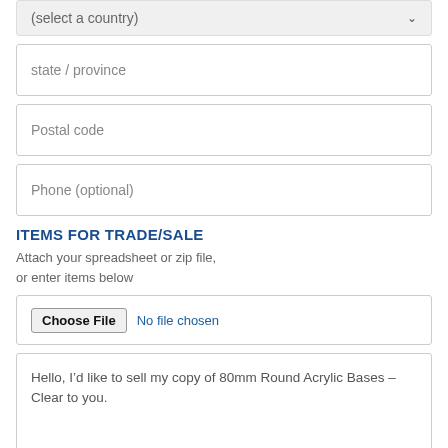(select a country)
state / province
Postal code
Phone (optional)
ITEMS FOR TRADE/SALE
Attach your spreadsheet or zip file, or enter items below
Choose File  No file chosen
Hello, I’d like to sell my copy of 80mm Round Acrylic Bases – Clear to you.